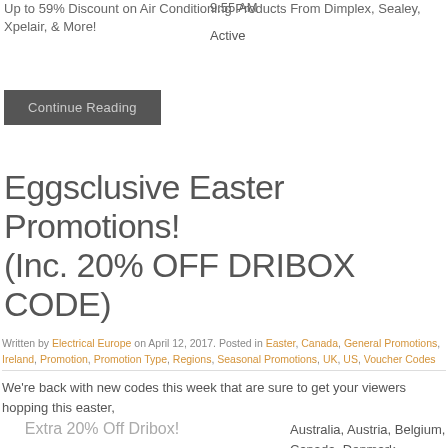Up to 59% Discount on Air Conditioning Products From Dimplex, Sealey, Xpelair, & More!
9:55 AM
Active
Continue Reading
Eggsclusive Easter Promotions! (Inc. 20% OFF DRIBOX CODE)
Written by Electrical Europe on April 12, 2017. Posted in Easter, Canada, General Promotions, Ireland, Promotion, Promotion Type, Regions, Seasonal Promotions, UK, US, Voucher Codes
We're back with new codes this week that are sure to get your viewers hopping this easter,
Extra 20% Off Dribox!
Australia, Austria, Belgium, Canada, Denmark, Finland, France, Germany,